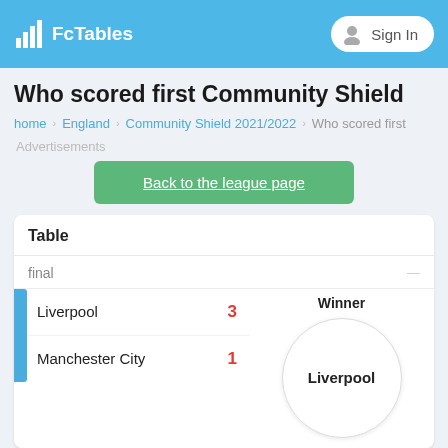FcTables | Sign In
Who scored first Community Shield
home > England > Community Shield 2021/2022 > Who scored first
Advertisements
Back to the league page
| Table |
| --- |
| final |
| Liverpool | 3 |
| Manchester City | 1 |
Winner
Liverpool